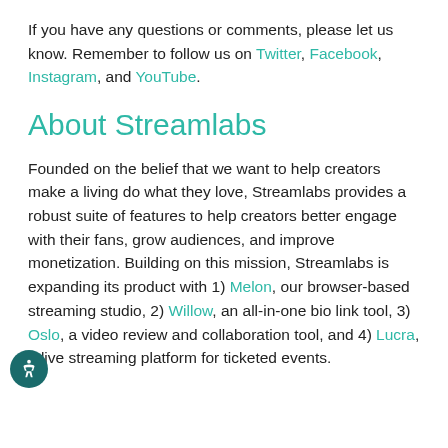If you have any questions or comments, please let us know. Remember to follow us on Twitter, Facebook, Instagram, and YouTube.
About Streamlabs
Founded on the belief that we want to help creators make a living do what they love, Streamlabs provides a robust suite of features to help creators better engage with their fans, grow audiences, and improve monetization. Building on this mission, Streamlabs is expanding its product with 1) Melon, our browser-based streaming studio, 2) Willow, an all-in-one bio link tool, 3) Oslo, a video review and collaboration tool, and 4) Lucra, a live streaming platform for ticketed events.